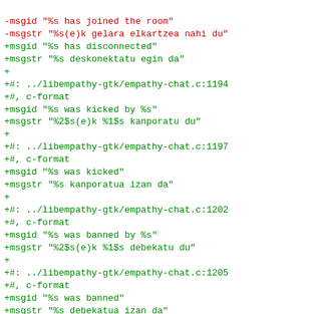Diff/patch code listing showing gettext translation file changes for libempathy-gtk/empathy-chat.c